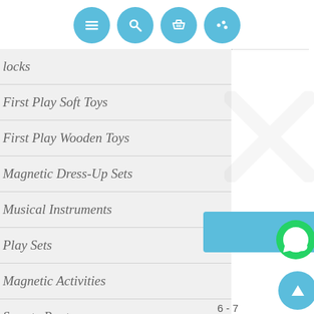[Figure (screenshot): Top navigation icon bar with four blue circular icons: hamburger menu, search/magnifying glass, shopping basket, and settings/dots]
locks
First Play Soft Toys
First Play Wooden Toys
Magnetic Dress-Up Sets
Musical Instruments
Play Sets
Magnetic Activities
Smarty Pants
6 - 7